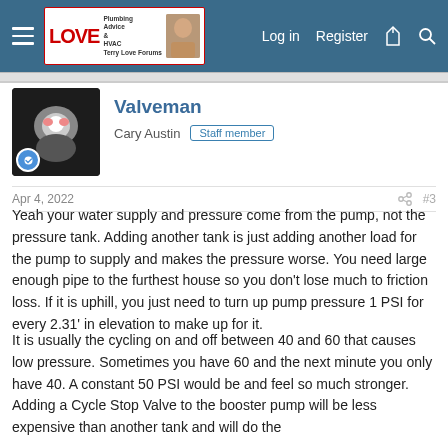Terry Love Forums — Plumbing Advice & HVAC. Log in | Register
Valveman
Cary Austin  Staff member
Apr 4, 2022  #3
Yeah your water supply and pressure come from the pump, not the pressure tank. Adding another tank is just adding another load for the pump to supply and makes the pressure worse. You need large enough pipe to the furthest house so you don't lose much to friction loss. If it is uphill, you just need to turn up pump pressure 1 PSI for every 2.31' in elevation to make up for it.
It is usually the cycling on and off between 40 and 60 that causes low pressure. Sometimes you have 60 and the next minute you only have 40. A constant 50 PSI would be and feel so much stronger. Adding a Cycle Stop Valve to the booster pump will be less expensive than another tank and will do the job for this reason you may consider which is also which